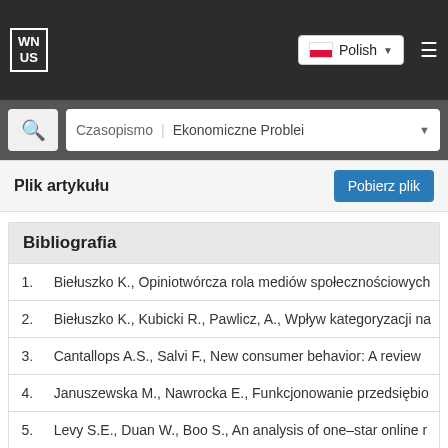[Figure (screenshot): Website navigation bar with WN US logo, Polish language selector with flag, and hamburger menu on dark background]
[Figure (screenshot): Search bar with search icon and journal selector showing 'Czasopismo Ekonomiczne Problei']
Plik artykułu
Pobierz plik
Bibliografia
| # | Reference |
| --- | --- |
| 1. | Biełuszko K., Opiniotwórcza rola mediów społecznościowych... |
| 2. | Biełuszko K., Kubicki R., Pawlicz, A., Wpływ kategoryzacji na... |
| 3. | Cantallops A.S., Salvi F., New consumer behavior: A review... |
| 4. | Januszewska M., Nawrocka E., Funkcjonowanie przedsiębio... |
| 5. | Levy S.E., Duan W., Boo S., An analysis of one–star online r... |
| 6. | Liu Z., Park, S., What makes a useful online review? Implica... |
| 7. | Lu Q., Ye Q., Law R., Moderating Effects of Product Heterog... |